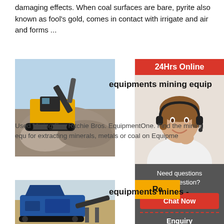damaging effects. When coal surfaces are bare, pyrite also known as fool's gold, comes in contact with irrigate and air and forms ...
[Figure (photo): Yellow mining excavator/crusher machine working on a pile of rocks/gravel at an outdoor mining site.]
equipments mining equip
Used Mining Equ Ritchie Bros. EquipmentOne. Find the mining equ for extracting minerals, metals or coal on Equipme
[Figure (other): Read More button with yellow/amber background]
[Figure (other): 24Hrs Online banner with red background, and a woman with headset customer service representative photo]
[Figure (photo): Blue mobile crushing/screening equipment at an outdoor mining/quarry site.]
equipments mines -
[Figure (other): Read More partial button with yellow/amber background]